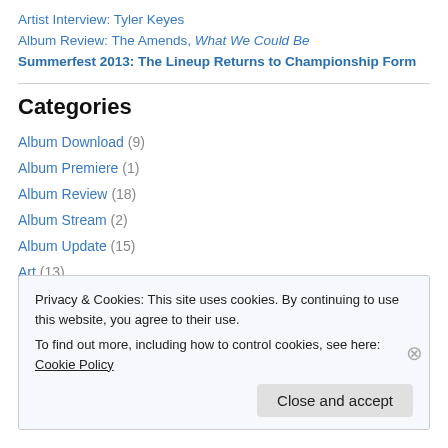Artist Interview: Tyler Keyes
Album Review: The Amends, What We Could Be
Summerfest 2013: The Lineup Returns to Championship Form
Categories
Album Download (9)
Album Premiere (1)
Album Review (18)
Album Stream (2)
Album Update (15)
Art (13)
Privacy & Cookies: This site uses cookies. By continuing to use this website, you agree to their use. To find out more, including how to control cookies, see here: Cookie Policy
Close and accept